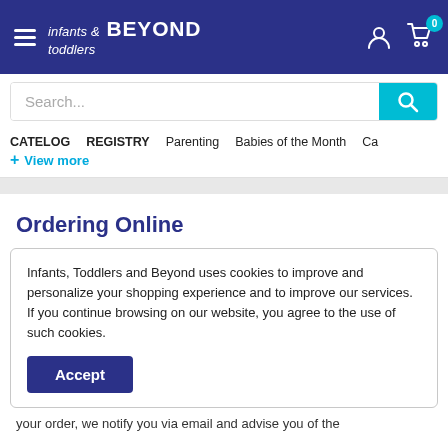infants & toddlers BEYOND
CATELOG
REGISTRY
Parenting
Babies of the Month
Ca
+ View more
Ordering Online
Infants, Toddlers and Beyond uses cookies to improve and personalize your shopping experience and to improve our services. If you continue browsing on our website, you agree to the use of such cookies.
Accept
your order, we notify you via email and advise you of the